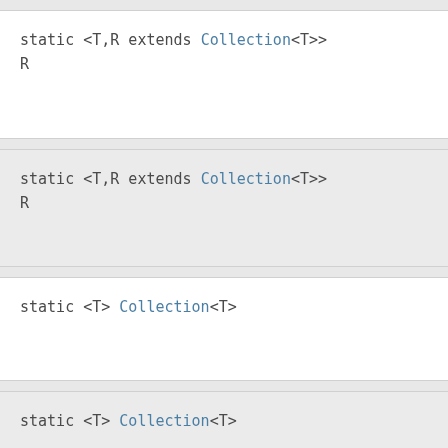static <T,R extends Collection<T>> R
static <T,R extends Collection<T>> R
static <T> Collection<T>
static <T> Collection<T>